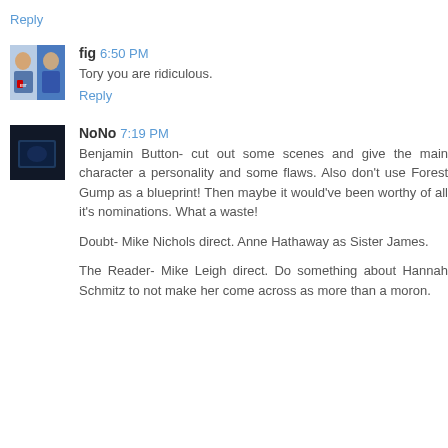Reply
fig 6:50 PM
Tory you are ridiculous.
Reply
NoNo 7:19 PM
Benjamin Button- cut out some scenes and give the main character a personality and some flaws. Also don't use Forest Gump as a blueprint! Then maybe it would've been worthy of all it's nominations. What a waste!
Doubt- Mike Nichols direct. Anne Hathaway as Sister James.
The Reader- Mike Leigh direct. Do something about Hannah Schmitz to not make her come across as more than a moron.